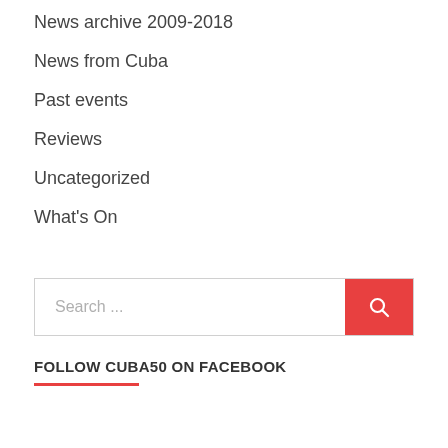News archive 2009-2018
News from Cuba
Past events
Reviews
Uncategorized
What's On
Search ...
FOLLOW CUBA50 ON FACEBOOK